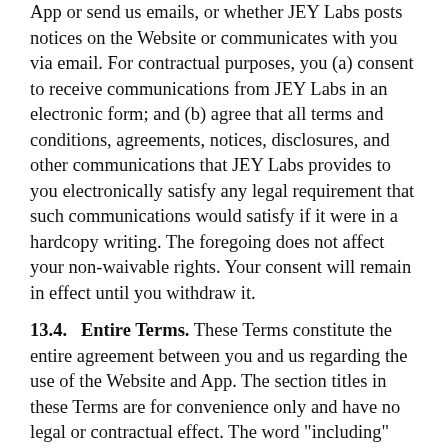App or send us emails, or whether JEY Labs posts notices on the Website or communicates with you via email. For contractual purposes, you (a) consent to receive communications from JEY Labs in an electronic form; and (b) agree that all terms and conditions, agreements, notices, disclosures, and other communications that JEY Labs provides to you electronically satisfy any legal requirement that such communications would satisfy if it were in a hardcopy writing. The foregoing does not affect your non-waivable rights. Your consent will remain in effect until you withdraw it.
13.4. Entire Terms. These Terms constitute the entire agreement between you and us regarding the use of the Website and App. The section titles in these Terms are for convenience only and have no legal or contractual effect. The word "including" means "including without limitation." If any provision